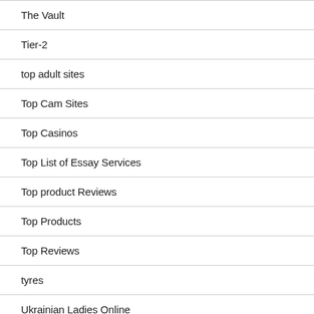The Vault
Tier-2
top adult sites
Top Cam Sites
Top Casinos
Top List of Essay Services
Top product Reviews
Top Products
Top Reviews
tyres
Ukrainian Ladies Online